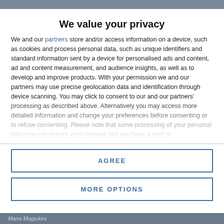We value your privacy
We and our partners store and/or access information on a device, such as cookies and process personal data, such as unique identifiers and standard information sent by a device for personalised ads and content, ad and content measurement, and audience insights, as well as to develop and improve products. With your permission we and our partners may use precise geolocation data and identification through device scanning. You may click to consent to our and our partners' processing as described above. Alternatively you may access more detailed information and change your preferences before consenting or to refuse consenting. Please note that some processing of your personal data may not require your consent, but you have a right to
AGREE
MORE OPTIONS
Mana Magiukes